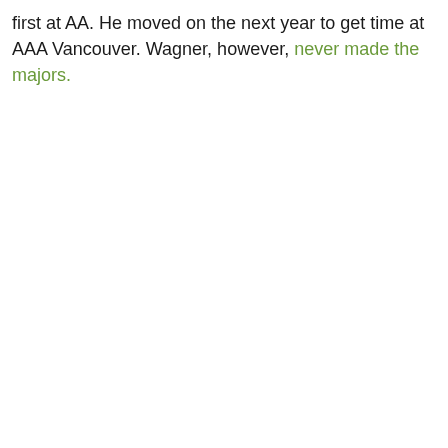first at AA. He moved on the next year to get time at AAA Vancouver. Wagner, however, never made the majors.